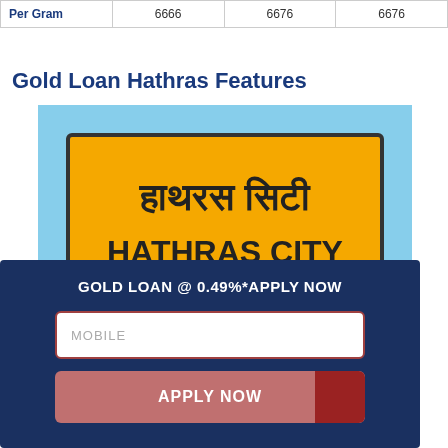| Per Gram | 6666 | 6676 | 6676 |
| --- | --- | --- | --- |
Gold Loan Hathras Features
[Figure (photo): Hathras City railway/town sign in Hindi, English, and Urdu scripts on a yellow board, with a blue sky background. Overlaid with a dark navy panel showing 'GOLD LOAN @ 0.49%*APPLY NOW' with a MOBILE input field and APPLY NOW button.]